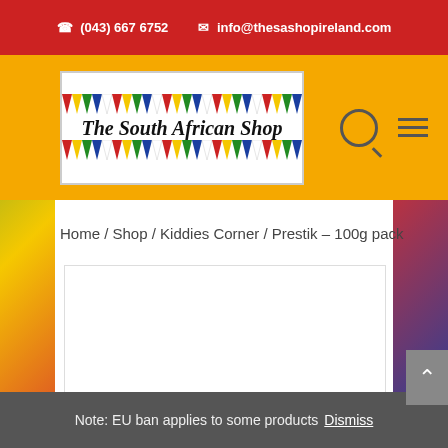(043) 667 6752   info@thesashopireland.com
[Figure (logo): The South African Shop logo with colorful pennant triangles border and italic script text]
Home / Shop / Kiddies Corner / Prestik – 100g pack
[Figure (photo): Product image area (white/blank)]
Note: EU ban applies to some products  Dismiss